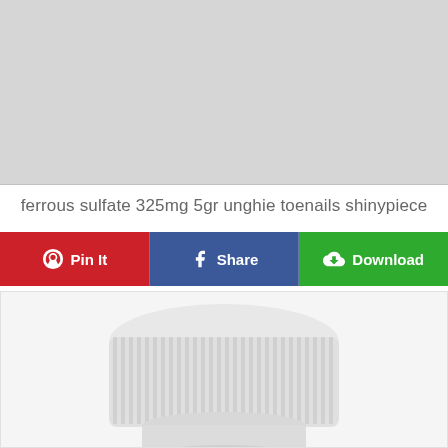[Figure (photo): Light gray placeholder rectangle representing an image area]
ferrous sulfate 325mg 5gr unghie toenails shinypiece
[Figure (infographic): Social sharing button bar with three buttons: Pin It (red, Pinterest), Share (blue, Facebook), Download (green, cloud download icon)]
[Figure (photo): Photo of a white pharmaceutical bottle with ridged white cap, partially visible, on white background]